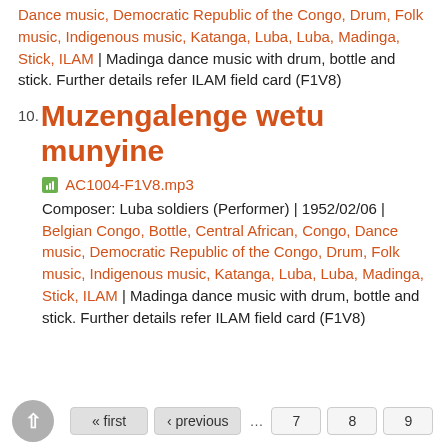Dance music, Democratic Republic of the Congo, Drum, Folk music, Indigenous music, Katanga, Luba, Luba, Madinga, Stick, ILAM | Madinga dance music with drum, bottle and stick. Further details refer ILAM field card (F1V8)
10. Muzengalenge wetu munyine
AC1004-F1V8.mp3
Composer: Luba soldiers (Performer) | 1952/02/06 | Belgian Congo, Bottle, Central African, Congo, Dance music, Democratic Republic of the Congo, Drum, Folk music, Indigenous music, Katanga, Luba, Luba, Madinga, Stick, ILAM | Madinga dance music with drum, bottle and stick. Further details refer ILAM field card (F1V8)
« first ‹ previous … 7 8 9